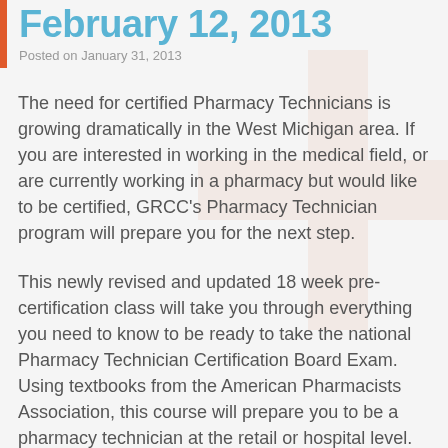February 12, 2013
Posted on January 31, 2013
The need for certified Pharmacy Technicians is growing dramatically in the West Michigan area. If you are interested in working in the medical field, or are currently working in a pharmacy but would like to be certified, GRCC's Pharmacy Technician program will prepare you for the next step.
This newly revised and updated 18 week pre-certification class will take you through everything you need to know to be ready to take the national Pharmacy Technician Certification Board Exam. Using textbooks from the American Pharmacists Association, this course will prepare you to be a pharmacy technician at the retail or hospital level. Course goals include completing an internship at a local pharmacy and taking the Pharmacy Technician Certification Exam.
The course runs 6-9 p.m. Tuesdays and Thursdays, starting